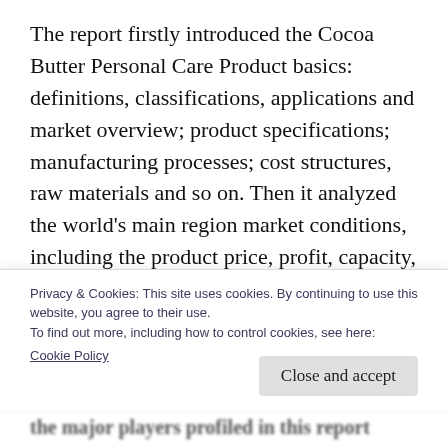The report firstly introduced the Cocoa Butter Personal Care Product basics: definitions, classifications, applications and market overview; product specifications; manufacturing processes; cost structures, raw materials and so on. Then it analyzed the world's main region market conditions, including the product price, profit, capacity, production, supply, demand and market growth rate and forecast etc. In the end, the
Privacy & Cookies: This site uses cookies. By continuing to use this website, you agree to their use.
To find out more, including how to control cookies, see here:
Cookie Policy
the major players profiled in this report